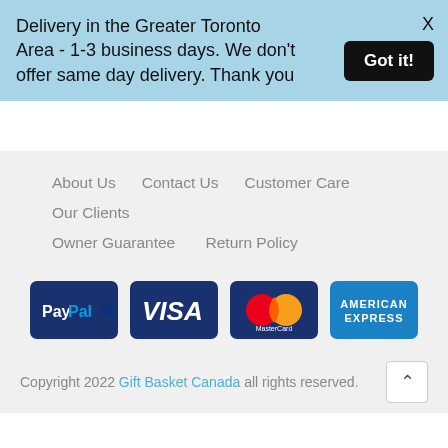Delivery in the Greater Toronto Area - 1-3 business days. We don't offer same day delivery. Thank you
X
Got it!
About Us   Contact Us   Customer Care   Our Clients   Owner Guarantee   Return Policy
[Figure (logo): PayPal logo on dark blue background]
[Figure (logo): VISA logo on dark blue background]
[Figure (logo): MasterCard logo on dark blue background]
[Figure (logo): American Express logo on blue background]
Copyright 2022 Gift Basket Canada all rights reserved.